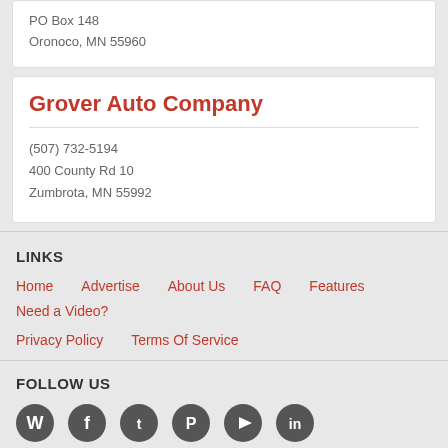PO Box 148
Oronoco, MN 55960
Grover Auto Company
(507) 732-5194
400 County Rd 10
Zumbrota, MN 55992
LINKS
Home
Advertise
About Us
FAQ
Features
Need a Video?
Privacy Policy
Terms Of Service
FOLLOW US
[Figure (other): Social media icons: WordPress, Facebook, Twitter, Pinterest, YouTube, LinkedIn]